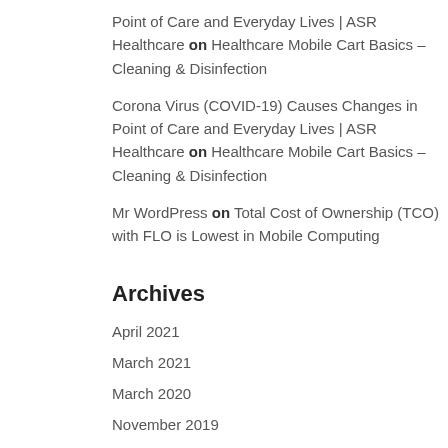Point of Care and Everyday Lives | ASR Healthcare on Healthcare Mobile Cart Basics – Cleaning & Disinfection
Corona Virus (COVID-19) Causes Changes in Point of Care and Everyday Lives | ASR Healthcare on Healthcare Mobile Cart Basics – Cleaning & Disinfection
Mr WordPress on Total Cost of Ownership (TCO) with FLO is Lowest in Mobile Computing
Archives
April 2021
March 2021
March 2020
November 2019
August 2019
July 2019